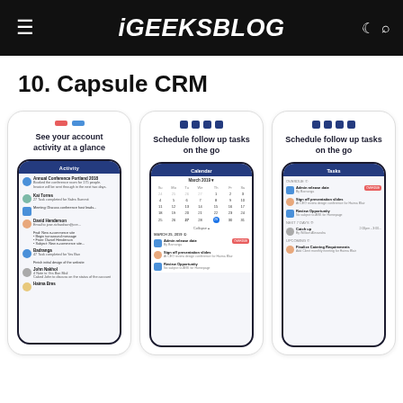iGEEKSBLOG
10. Capsule CRM
[Figure (screenshot): Three smartphone screenshots of the Capsule CRM mobile app showing: (1) Account activity feed, (2) Calendar with follow-up task scheduling, (3) Tasks list view with follow-up tasks.]